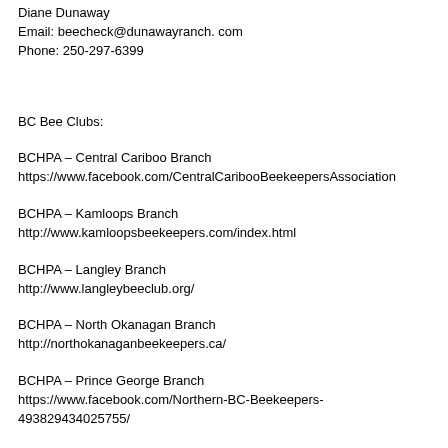Diane Dunaway
Email: beecheck@dunawayranch. com
Phone: 250-297-6399
BC Bee Clubs:
BCHPA – Central Cariboo Branch
https://www.facebook.com/CentralCaribooBeekeepersAssociation
BCHPA – Kamloops Branch
http://www.kamloopsbeekeepers.com/index.html
BCHPA – Langley Branch
http://www.langleybeeclub.org/
BCHPA – North Okanagan Branch
http://northokanaganbeekeepers.ca/
BCHPA – Prince George Branch
https://www.facebook.com/Northern-BC-Beekeepers-493829434025755/